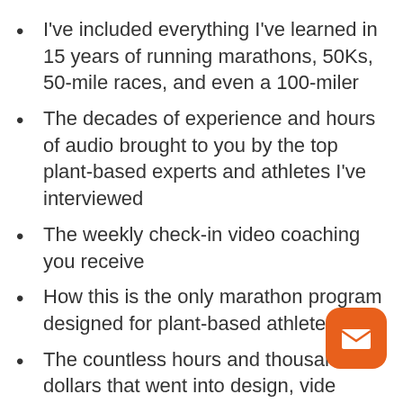I've included everything I've learned in 15 years of running marathons, 50Ks, 50-mile races, and even a 100-miler
The decades of experience and hours of audio brought to you by the top plant-based experts and athletes I've interviewed
The weekly check-in video coaching you receive
How this is the only marathon program designed for plant-based athletes
The countless hours and thousands of dollars that went into design, video production, writing, hiring outside h…
How you get not one, but four training…